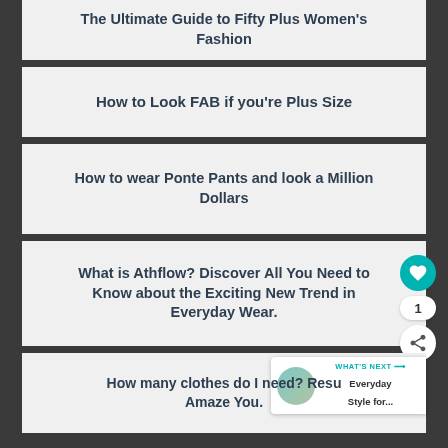The Ultimate Guide to Fifty Plus Women's Fashion
How to Look FAB if you're Plus Size
How to wear Ponte Pants and look a Million Dollars
What is Athflow? Discover All You Need to Know about the Exciting New Trend in Everyday Wear.
How many clothes do I need? Results That Will Amaze You.